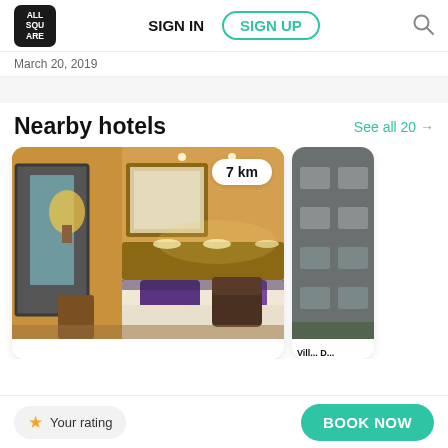[Figure (screenshot): AllSquare app logo — white text on black rounded square]
SIGN IN
SIGN UP
March 20, 2019
Nearby hotels
See all 20 →
[Figure (photo): Hotel room interior with warm yellow lighting, a double bed with white and purple linens, a chair, wooden headboard, and a wall-mounted light. Distance badge shows 7 km.]
[Figure (photo): Partial view of a building exterior (dark grey/stone), partially cropped on the right edge. Text 'Vill... D...' visible below.]
Your rating
BOOK NOW